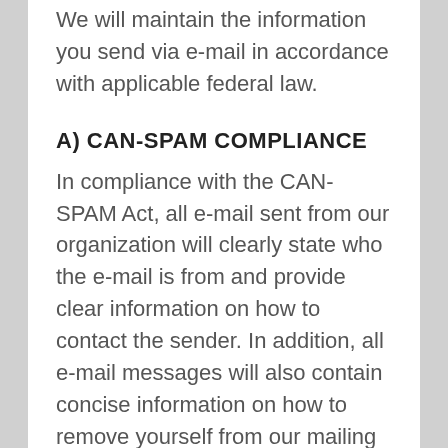We will maintain the information you send via e-mail in accordance with applicable federal law.
A) CAN-SPAM COMPLIANCE
In compliance with the CAN-SPAM Act, all e-mail sent from our organization will clearly state who the e-mail is from and provide clear information on how to contact the sender. In addition, all e-mail messages will also contain concise information on how to remove yourself from our mailing list so that you receive no further e-mail